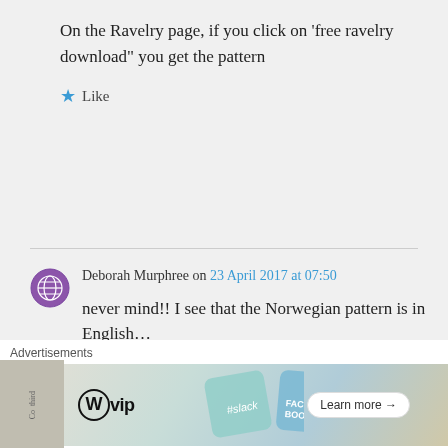On the Ravelry page, if you click on ‘free ravelry download” you get the pattern
★ Like
Deborah Murphree on 23 April 2017 at 07:50
never mind!! I see that the Norwegian pattern is in English… getting started now!! thanks!
Advertisements
[Figure (screenshot): Advertisement banner with WordPress VIP logo and 'Learn more' button against a colorful background]